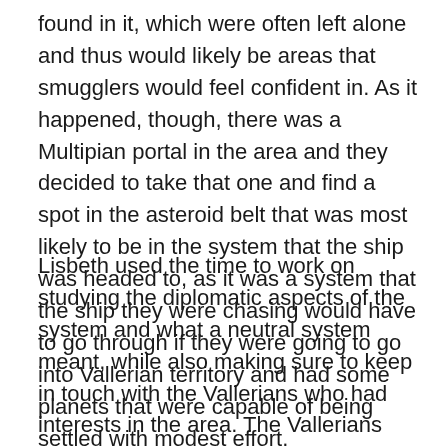found in it, which were often left alone and thus would likely be areas that smugglers would feel confident in. As it happened, though, there was a Multipian portal in the area and they decided to take that one and find a spot in the asteroid belt that was most likely to be in the system that the ship was headed to, as it was a system that the ship they were chasing would have to go through if they were going to go into Vallerian territory and had some planets that were capable of being settled with modest effort.
Lisbeth used the time to work on studying the diplomatic aspects of the system and what a neutral system meant, while also making sure to keep in touch with the Vallerians who had interests in the area. The Vallerians had much less settlement close by than the Multipians did, but it was no great problem to point out that a joint condominium of the area would be preferable to leaving it open to